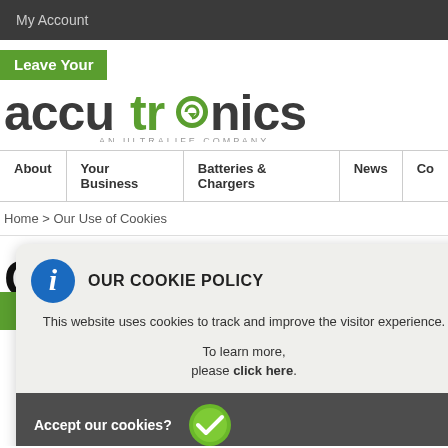My Account
Leave Your
[Figure (logo): Accutronics - An Ultralife Company logo]
About | Your Business | Batteries & Chargers | News | Co
Home > Our Use of Cookies
Our Use of Cookies
[Figure (screenshot): Cookie policy popup overlay with info icon, title OUR COOKIE POLICY, body text about cookies, learn more link, and Accept our cookies? button with green checkmark]